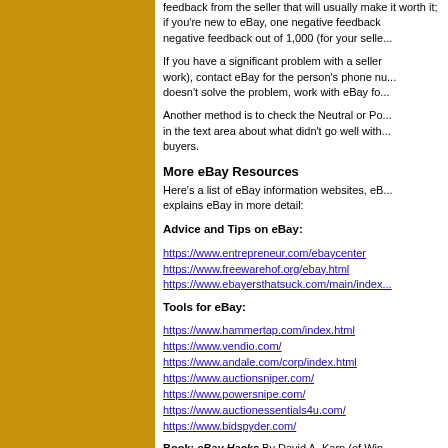feedback from the seller that will usually make it worth it; if you're new to eBay, one negative feedback out of 1,000 (for your selle...
If you have a significant problem with a seller (email doesn't work), contact eBay for the person's phone nu... doesn't solve the problem, work with eBay fo...
Another method is to check the Neutral or Po... in the text area about what didn't go well with... buyers.
More eBay Resources
Here's a list of eBay information websites, eB... explains eBay in more detail:
Advice and Tips on eBay:
https://www.entrepreneur.com/ebaycenter
https://www.freewarehof.org/ebay.html
https://www.ebayersthatsuck.com/main/index...
Tools for eBay:
https://www.hammertap.com/index.html
https://www.vendio.com/
https://www.andale.com/corp/index.html
https://www.auctionsniper.com/
https://www.powersnipe.com/
https://www.auctionessentials4u.com/
https://www.bidspyder.com/
Book: eBay Hacks By David A. Karp (of Win...